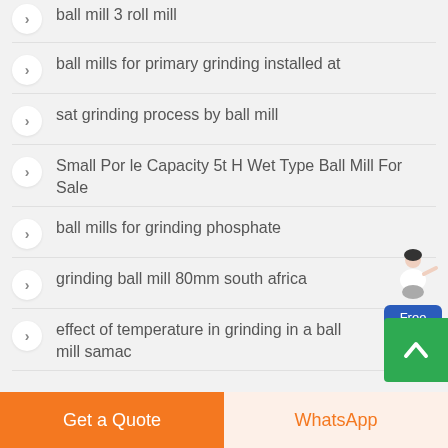ball mill 3 roll mill
ball mills for primary grinding installed at
sat grinding process by ball mill
Small Por le Capacity 5t H Wet Type Ball Mill For Sale
ball mills for grinding phosphate
grinding ball mill 80mm south africa
effect of temperature in grinding in a ball mill samac
[Figure (illustration): Chat assistant widget with blue 'Free chat' button and person graphic]
[Figure (illustration): Green scroll-to-top button with upward arrow]
Get a Quote   WhatsApp